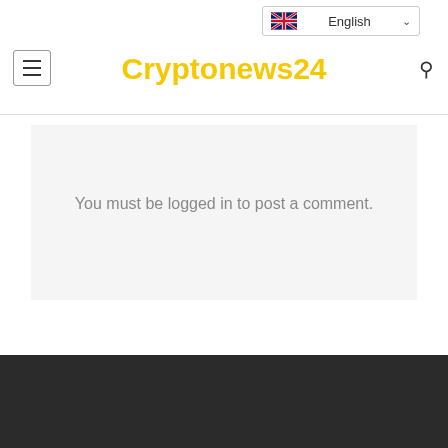Cryptonews24
LEAVE A REPLY
You must be logged in to post a comment.
TELEGRAM
Crypto...
Privacy & Cookies Policy